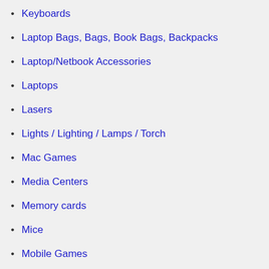Keyboards
Laptop Bags, Bags, Book Bags, Backpacks
Laptop/Netbook Accessories
Laptops
Lasers
Lights / Lighting / Lamps / Torch
Mac Games
Media Centers
Memory cards
Mice
Mobile Games
Monitors
Mousing Surfaces
MP3 Players
Multi-functional printers
NAS Network Attached Storage
Netbooks
Network
Network Cameras
News